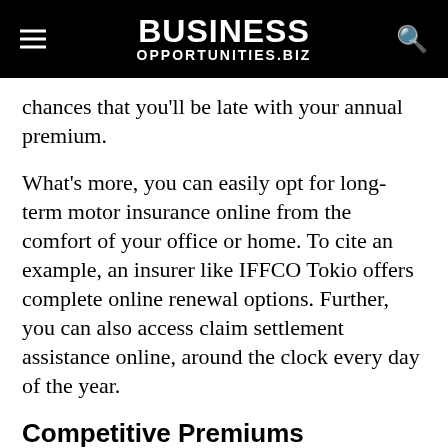BUSINESS OPPORTUNITIES.BIZ
chances that you'll be late with your annual premium.
What's more, you can easily opt for long-term motor insurance online from the comfort of your office or home. To cite an example, an insurer like IFFCO Tokio offers complete online renewal options. Further, you can also access claim settlement assistance online, around the clock every day of the year.
Competitive Premiums
Some insurance companies offer a discount on long-term policies. That's because long-term policies require lower administrative